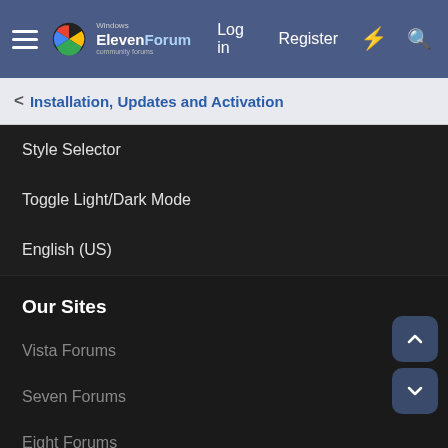Windows ElevenForum | Log in | Register
< Installation, Updates and Activation
Style Selector
Toggle Light/Dark Mode
English (US)
Our Sites
Vista Forums
Seven Forums
Eight Forums
Ten Forums